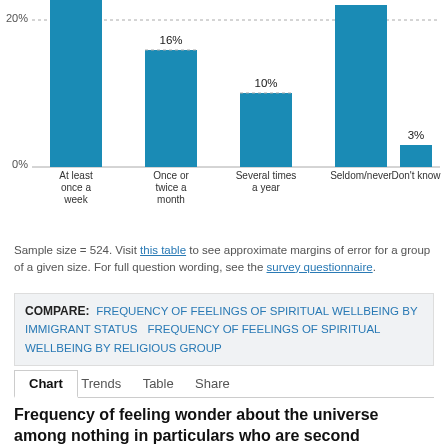[Figure (bar-chart): ]
Sample size = 524. Visit this table to see approximate margins of error for a group of a given size. For full question wording, see the survey questionnaire.
COMPARE: FREQUENCY OF FEELINGS OF SPIRITUAL WELLBEING BY IMMIGRANT STATUS   FREQUENCY OF FEELINGS OF SPIRITUAL WELLBEING BY RELIGIOUS GROUP
Chart   Trends   Table   Share
Frequency of feeling wonder about the universe among nothing in particulars who are second